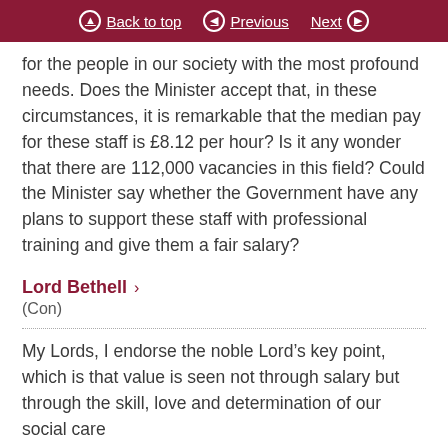Back to top | Previous | Next
for the people in our society with the most profound needs. Does the Minister accept that, in these circumstances, it is remarkable that the median pay for these staff is £8.12 per hour? Is it any wonder that there are 112,000 vacancies in this field? Could the Minister say whether the Government have any plans to support these staff with professional training and give them a fair salary?
Lord Bethell > (Con)
My Lords, I endorse the noble Lord's key point, which is that value is seen not through salary but through the skill, love and determination of our social care